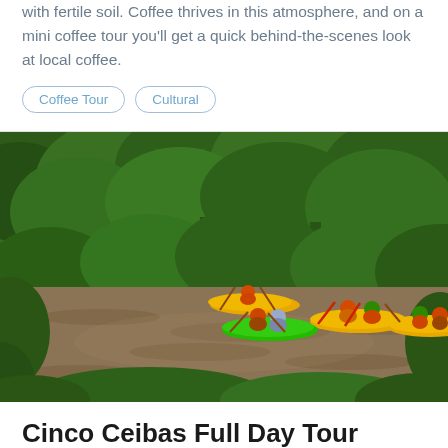with fertile soil. Coffee thrives in this atmosphere, and on a mini coffee tour you'll get a quick behind-the-scenes look at local coffee.
Coffee Tour
Cultural
[Figure (photo): People kayaking on a brown river surrounded by lush tropical green forest. One green kayak and two yellow kayaks with paddlers wearing helmets and life vests.]
Cinco Ceibas Full Day Tour